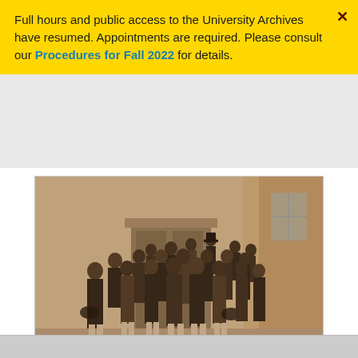Full hours and public access to the University Archives have resumed. Appointments are required. Please consult our Procedures for Fall 2022 for details.
[Figure (photo): Sepia-toned historical group photograph of the College Class of 1865, showing approximately 25 young men in 19th century attire standing in front of a building entrance.]
College Class of 1865